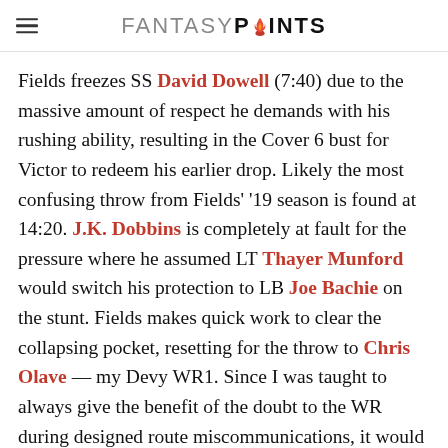FANTASY POINTS
Fields freezes SS David Dowell (7:40) due to the massive amount of respect he demands with his rushing ability, resulting in the Cover 6 bust for Victor to redeem his earlier drop. Likely the most confusing throw from Fields' '19 season is found at 14:20. J.K. Dobbins is completely at fault for the pressure where he assumed LT Thayer Munford would switch his protection to LB Joe Bachie on the stunt. Fields makes quick work to clear the collapsing pocket, resetting for the throw to Chris Olave — my Devy WR1. Since I was taught to always give the benefit of the doubt to the WR during designed route miscommunications, it would se that Fields either shorthands this throw by 10 full